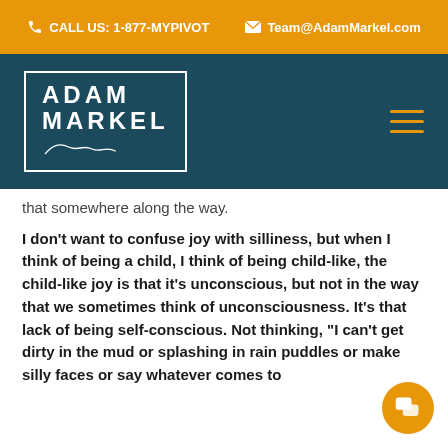CALL US: 1-877-MYPIVOT   Team@AdamMarkel.com
[Figure (logo): Adam Markel logo in white text on dark teal background with border and signature, with hamburger menu icon]
that somewhere along the way.
I don't want to confuse joy with silliness, but when I think of being a child, I think of being child-like, the child-like joy is that it's unconscious, but not in the way that we sometimes think of unconsciousness. It's that lack of being self-conscious. Not thinking, "I can't get dirty in the mud or splashing in rain puddles or make silly faces or say whatever comes to